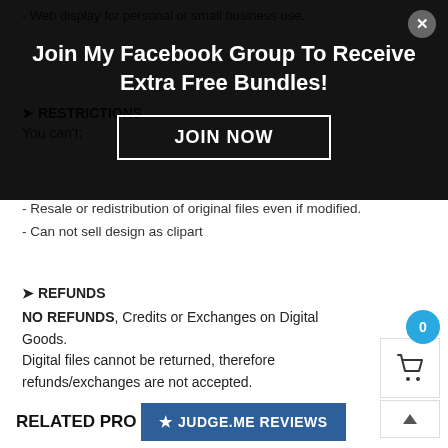- Web display for personal or small business use.
➤ RESTRICTIONS
You can't:
[Figure (screenshot): Dark modal overlay with heading 'Join My Facebook Group To Receive Extra Free Bundles!' and a JOIN NOW button with close X button]
- Resale or redistribution of original files even if modified.
- Can not sell design as clipart
➤ REFUNDS
NO REFUNDS, Credits or Exchanges on Digital Goods.
Digital files cannot be returned, therefore refunds/exchanges are not accepted.
If you are having trouble with your files, please message me and I will help where I can.
* IMPORTANT * Please make sure you have the required software and knowledge to use these graphics before you purchase.
RELATED PRO
[Figure (screenshot): Judge.me Reviews button (dark blue) with star icon]
[Figure (screenshot): Shopping cart widget with blue circle showing 0 count]